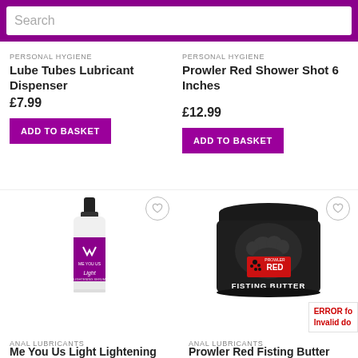Search
PERSONAL HYGIENE
Lube Tubes Lubricant Dispenser
£7.99
ADD TO BASKET
PERSONAL HYGIENE
Prowler Red Shower Shot 6 Inches
£12.99
ADD TO BASKET
[Figure (photo): Me You Us Light lubricant bottle with purple label]
ANAL LUBRICANTS
Me You Us Light Lightening
[Figure (photo): Prowler Red Fisting Butter black jar with paw print logo]
ANAL LUBRICANTS
Prowler Red Fisting Butter
ERROR fo Invalid do